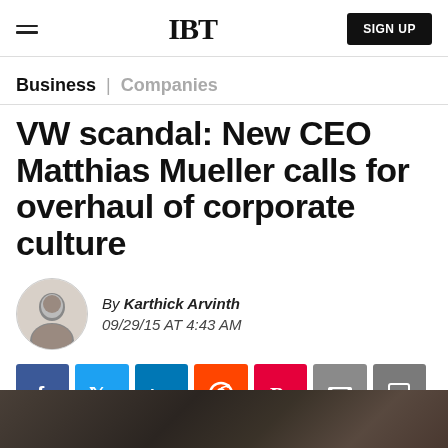IBT | SIGN UP
Business | Companies
VW scandal: New CEO Matthias Mueller calls for overhaul of corporate culture
By Karthick Arvinth
09/29/15 AT 4:43 AM
[Figure (other): Social share buttons: Facebook, Twitter, LinkedIn, Reddit, Flipboard, Email, Comment]
[Figure (photo): Dark industrial/mechanical image at bottom of page]